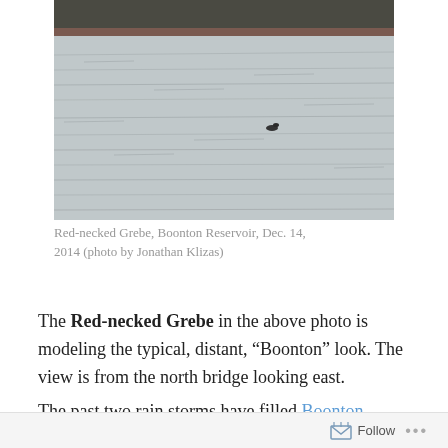[Figure (photo): A distant bird (Red-necked Grebe) on a large body of water (Boonton Reservoir). The scene shows rippled gray water filling most of the frame with a dark treeline along the top edge.]
Red-necked Grebe, Boonton Reservoir, Dec. 14, 2014 (photo by Jonathan Klizas)
The Red-necked Grebe in the above photo is modeling the typical, distant, “Boonton” look. The view is from the north bridge looking east.
The past two rain storms have filled Boonton Reservoir to capacity for the first time since the spring. The exposed
Follow